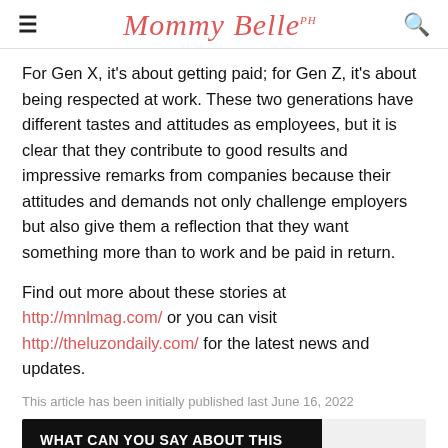Mommy Belle PH
For Gen X, it's about getting paid; for Gen Z, it's about being respected at work. These two generations have different tastes and attitudes as employees, but it is clear that they contribute to good results and impressive remarks from companies because their attitudes and demands not only challenge employers but also give them a reflection that they want something more than to work and be paid in return.
Find out more about these stories at http://mnlmag.com/ or you can visit http://theluzondaily.com/ for the latest news and updates.
This article has been initially published last June 16, 2022
WHAT CAN YOU SAY ABOUT THIS STORY?